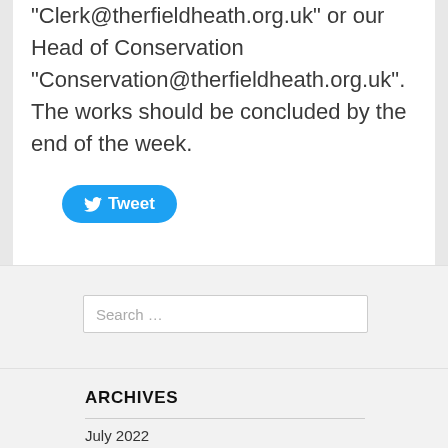“Clerk@therfieldheath.org.uk” or our Head of Conservation “Conservation@therfieldheath.org.uk”. The works should be concluded by the end of the week.
[Figure (other): Twitter Tweet button with bird icon]
Search …
ARCHIVES
July 2022